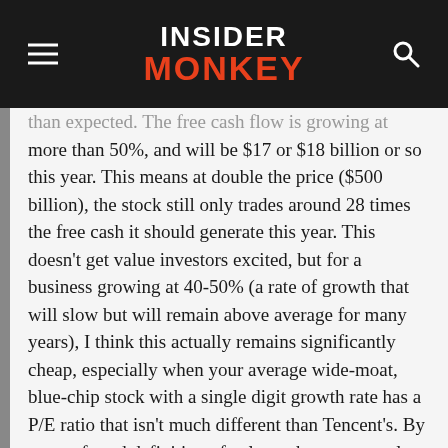INSIDER MONKEY
than expected. The free cash flow is growing at more than 50%, and will be $17 or $18 billion or so this year. This means at double the price ($500 billion), the stock still only trades around 28 times the free cash it should generate this year. This doesn't get value investors excited, but for a business growing at 40-50% (a rate of growth that will slow but will remain above average for many years), I think this actually remains significantly cheap, especially when your average wide-moat, blue-chip stock with a single digit growth rate has a P/E ratio that isn't much different than Tencent's. By my preferred definition of value – the present value of the